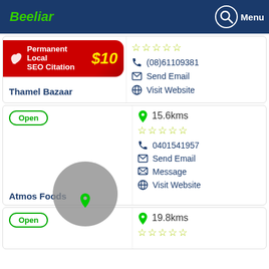Beeliar
[Figure (screenshot): Red banner ad for Permanent Local SEO Citation $10]
Thamel Bazaar
(08)61109381
Send Email
Visit Website
Open
15.6kms
Atmos Foods
0401541957
Send Email
Message
Visit Website
Open
19.8kms